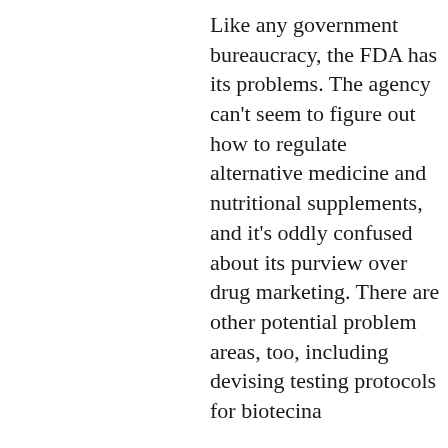Like any government bureaucracy, the FDA has its problems. The agency can't seem to figure out how to regulate alternative medicine and nutritional supplements, and it's oddly confused about its purview over drug marketing. There are other potential problem areas, too, including devising testing protocols for biotec...